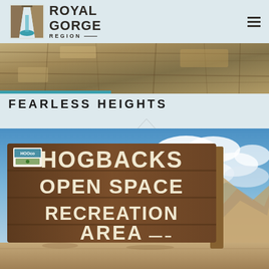Royal Gorge Region - navigation header
[Figure (photo): Rocky cliff face / gorge wall panoramic hero banner photo]
FEARLESS HEIGHTS
[Figure (photo): Wooden sign reading HOGBACKS OPEN SPACE RECREATION AREA with blue cloudy sky and rocky terrain in background]